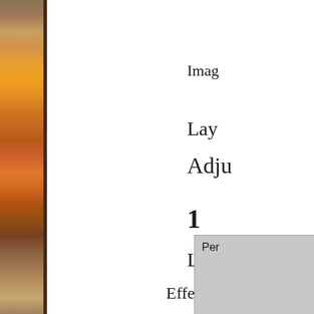[Figure (photo): Left sidebar with colorful autumn/food photograph strip in warm orange, brown, and yellow tones with a dark brown border on the right edge]
Imag
Lay
Adju
1
Laye
Effects > Plugins >
[Figure (screenshot): Gray dialog box or panel partially visible in bottom right corner with text 'Per']